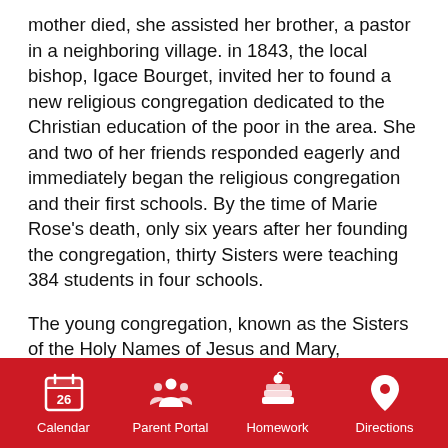mother died, she assisted her brother, a pastor in a neighboring village. in 1843, the local bishop, Igace Bourget, invited her to found a new religious congregation dedicated to the Christian education of the poor in the area. She and two of her friends responded eagerly and immediately began the religious congregation and their first schools. By the time of Marie Rose's death, only six years after her founding the congregation, thirty Sisters were teaching 384 students in four schools.
The young congregation, known as the Sisters of the Holy Names of Jesus and Mary, continued to expand to new locations in Canada and the United States, establishing schools and colleges with high academic standards and an emphasis on the fine arts. In 1868, in response to a request from Archbishop Alemany of San Francisco, the first Sisters of the Holy Names came to Oakland to establish schools in California. Since then the Sisters have founded, staffed and sponsored several high schools and more elementary schools in the United
Calendar | Parent Portal | Homework | Directions